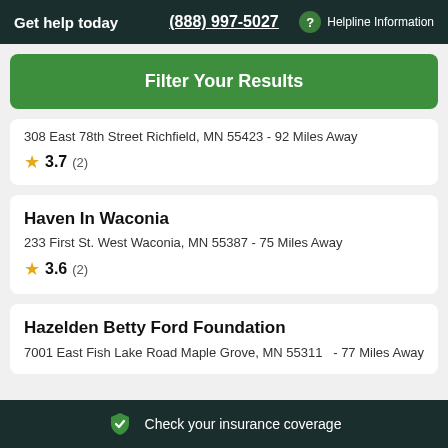Get help today | (888) 997-5027 | ? Helpline Information
[Figure (other): Green rounded button labeled 'Filter Your Results']
308 East 78th Street Richfield, MN 55423 - 92 Miles Away
★ 3.7 (2)
Haven In Waconia
233 First St. West Waconia, MN 55387 - 75 Miles Away
★ 3.6 (2)
Hazelden Betty Ford Foundation
7001 East Fish Lake Road Maple Grove, MN 55311 - 77 Miles Away
Check your insurance coverage